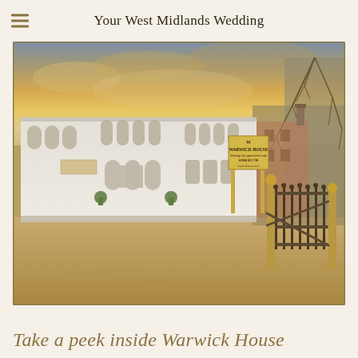Your West Midlands Wedding
[Figure (photo): Exterior photograph of Warwick House wedding venue — a large white Georgian-style building with gothic arched windows, a gravel forecourt, ornate iron gate in the foreground, a yellow sign reading 'WARWICK HOUSE Viewings by appointment only 01926 815 738', and dramatic golden-hour sky with trees on the right.]
Take a peek inside Warwick House